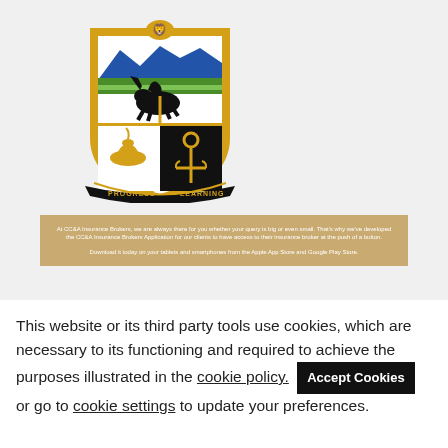[Figure (logo): CC&A Insurance Brokers coat of arms shield logo with motto 'PROGRESS THROUGH LEARNING'. Shield features blue mountains, green stripes, pegasus, oil lamp, anchor, and lion crest. Colors: gold, black, blue, green, white.]
At CC&A Insurance Brokers, we are always there for you whether your query is big or even small. That's why we've developed the CC&A Insurance Brokers Application for our clients to have access to their insurance broker at the push of a button. Download it today on your tablets and smartphones from the Apple App Store and Google Play Store.
This website or its third party tools use cookies, which are necessary to its functioning and required to achieve the purposes illustrated in the cookie policy. Accept Cookies or go to cookie settings to update your preferences.